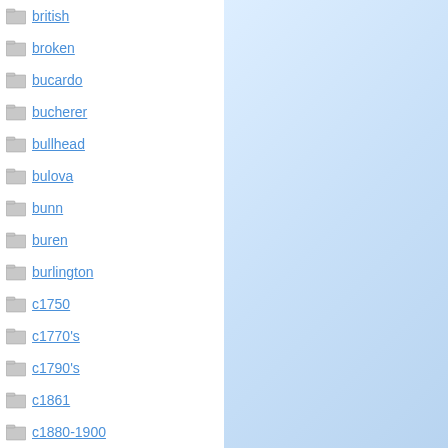british
broken
bucardo
bucherer
bullhead
bulova
bunn
buren
burlington
c1750
c1770's
c1790's
c1861
c1880-1900
c1900
c1930's
ca1892
cabrier
call
care
cartier